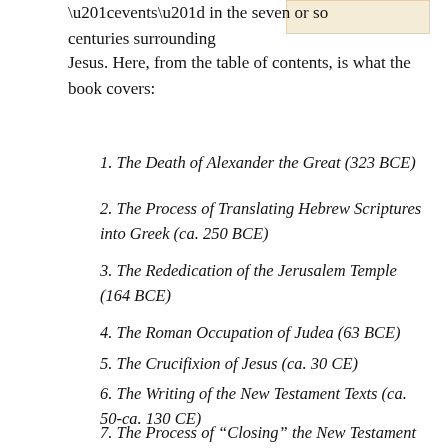[Figure (other): Tan/beige colored rectangular image placeholder in upper right area of page]
“events” in the seven or so centuries surrounding Jesus. Here, from the table of contents, is what the book covers:
1. The Death of Alexander the Great (323 BCE)
2. The Process of Translating Hebrew Scriptures into Greek (ca. 250 BCE)
3. The Rededication of the Jerusalem Temple (164 BCE)
4. The Roman Occupation of Judea (63 BCE)
5. The Crucifixion of Jesus (ca. 30 CE)
6. The Writing of the New Testament Texts (ca. 50-ca. 130 CE)
7. The Process of “Closing” the New Testament Canon (397 CE)